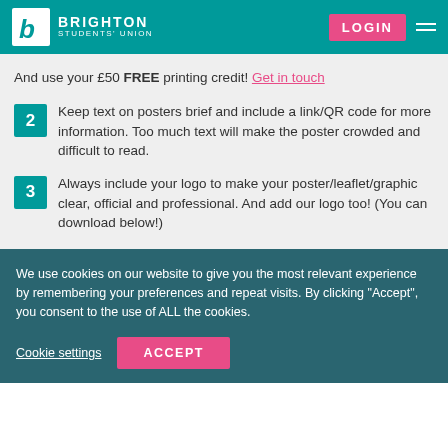Brighton Students' Union — LOGIN
And use your £50 FREE printing credit! Get in touch
2  Keep text on posters brief and include a link/QR code for more information. Too much text will make the poster crowded and difficult to read.
3  Always include your logo to make your poster/leaflet/graphic clear, official and professional. And add our logo too! (You can download below!)
We use cookies on our website to give you the most relevant experience by remembering your preferences and repeat visits. By clicking "Accept", you consent to the use of ALL the cookies.
Cookie settings  ACCEPT